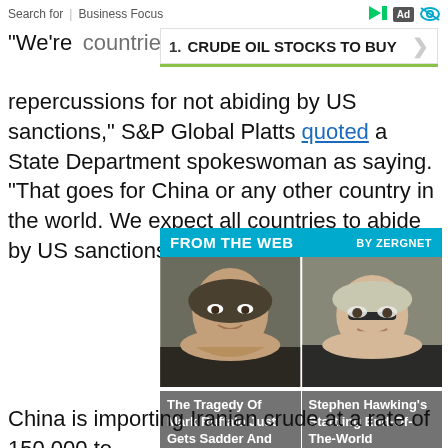Search for | Business Focus
1. CRUDE OIL STOCKS TO BUY
"We're ... countries ... repercussions for not abiding by US sanctions," S&P Global Platts quoted a State Department spokeswoman as saying. "That goes for China or any other country in the world. We expect all countries to abide by US sanctions."
[Figure (infographic): FROM THE WEB BY ZERGNET widget with two celebrity photos: The Tragedy Of Mark Ruffalo Just Gets Sadder And Sadder / Stephen Hawking's Startling End-Of-The-World Prediction]
China is importing Iranian crude at a rate of 150,000 to